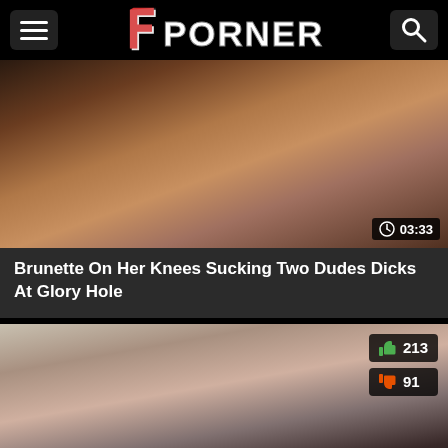FPORNER
[Figure (screenshot): Video thumbnail for 'Brunette On Her Knees Sucking Two Dudes Dicks At Glory Hole', duration badge showing 03:33]
Brunette On Her Knees Sucking Two Dudes Dicks At Glory Hole
[Figure (screenshot): Video thumbnail showing close-up scene, with like count 213 and dislike count 91]